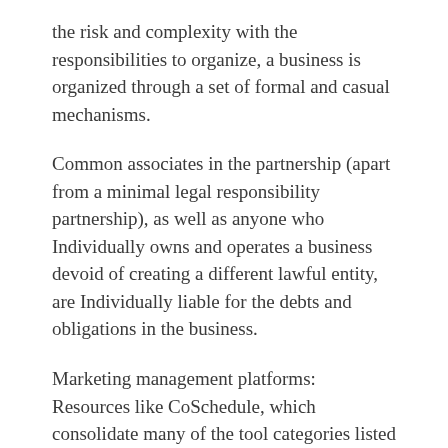the risk and complexity with the responsibilities to organize, a business is organized through a set of formal and casual mechanisms.
Common associates in the partnership (apart from a minimal legal responsibility partnership), as well as anyone who Individually owns and operates a business devoid of creating a different lawful entity, are Individually liable for the debts and obligations in the business.
Marketing management platforms: Resources like CoSchedule, which consolidate many of the tool categories listed over, whilst integrating with other preferred equipment.
The...